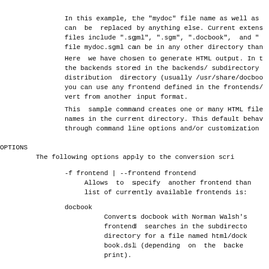In this example, the "mydoc" file name as well as
can  be  replaced by anything else. Current extens
files include ".sgml", ".sgm", ".docbook",  and "
file mydoc.sgml can be in any other directory than
Here  we have chosen to generate HTML output. In t
the backends stored in the backends/ subdirectory
distribution  directory (usually /usr/share/docboo
you can use any frontend defined in the frontends/
vert from another input format.
This  sample command creates one or many HTML file
names in the current directory. This default behav
through command line options and/or customization
OPTIONS
The following options apply to the conversion scri
-f frontend | --frontend frontend
     Allows  to  specify  another frontend than
     list of currently available frontends is:
docbook
          Converts docbook with Norman Walsh's
          frontend  searches in the subdirecto
          directory for a file named html/dock
          book.dsl (depending  on  the  backe
          print).